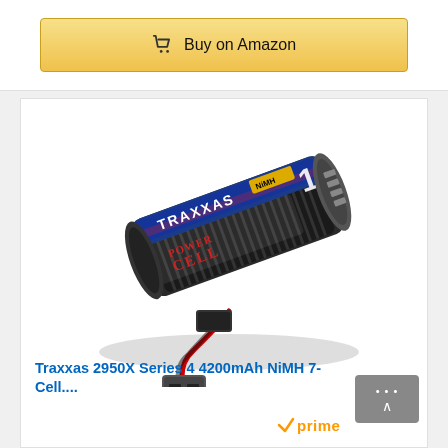Buy on Amazon
[Figure (photo): Traxxas 2950X Series 4 4200mAh NiMH 7-cell battery with red wiring and iD connector, shown at an angle on white background]
Traxxas 2950X Series 4 4200mAh NiMH 7-Cell....